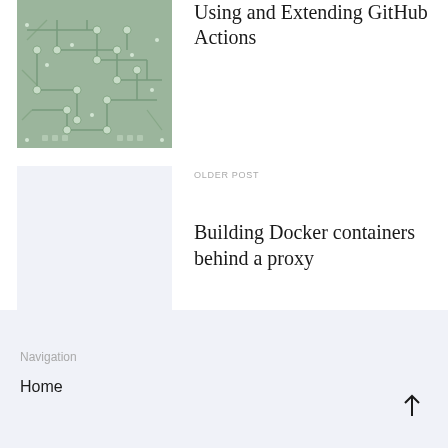[Figure (photo): Circuit board close-up image with green tones, showing traces and electronic components]
Using and Extending GitHub Actions
[Figure (photo): Light blue-grey blank placeholder image]
OLDER POST
Building Docker containers behind a proxy
Navigation
Home